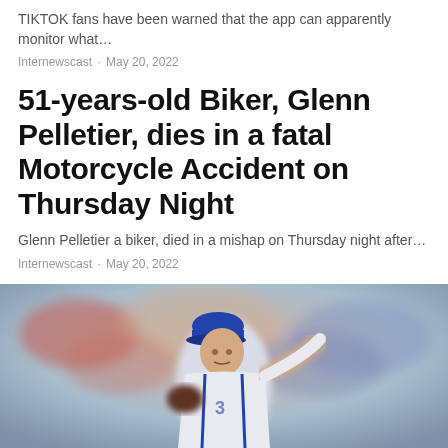TIKTOK fans have been warned that the app can apparently monitor what…
Internewscast · May 20, 2022
51-years-old Biker, Glenn Pelletier, dies in a fatal Motorcycle Accident on Thursday Night
Glenn Pelletier a biker, died in a mishap on Thursday night after…
Internewscast · May 20, 2022
[Figure (photo): A baseball pitcher in a blue and white Mets uniform and blue cap in throwing motion on the mound, with a blurred crowd in the background]